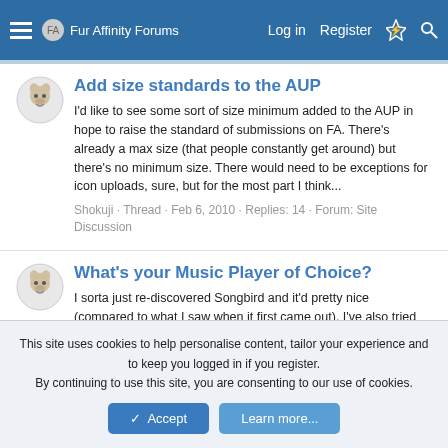Fur Affinity Forums — Log in  Register
Add size standards to the AUP
I'd like to see some sort of size minimum added to the AUP in hope to raise the standard of submissions on FA. There's already a max size (that people constantly get around) but there's no minimum size. There would need to be exceptions for icon uploads, sure, but for the most part I think...
Shokuji · Thread · Feb 6, 2010 · Replies: 14 · Forum: Site Discussion
What's your Music Player of Choice?
I sorta just re-discovered Songbird and it'd pretty nice (compared to what I saw when it first came out). I've also tried out Quintessential Media Player (QMP) for a while. VLC is pretty slim, but lacks smoothness. I sorta avoided Winamp after it was
This site uses cookies to help personalise content, tailor your experience and to keep you logged in if you register.
By continuing to use this site, you are consenting to our use of cookies.